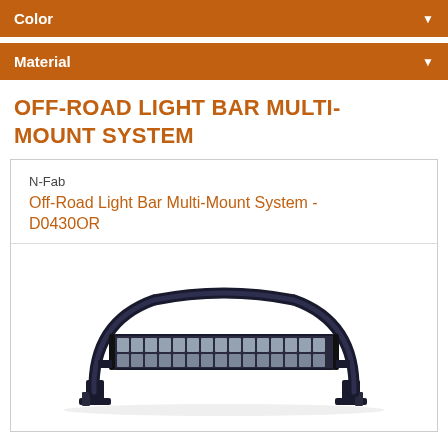Color
Material
OFF-ROAD LIGHT BAR MULTI-MOUNT SYSTEM
N-Fab
Off-Road Light Bar Multi-Mount System - D0430OR
[Figure (photo): Product photo of an off-road light bar multi-mount system showing a curved tubular steel bar mount with a long LED light bar attached and bracket feet at the base.]